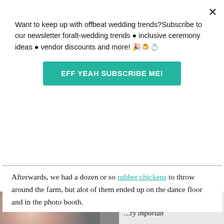Want to keep up with offbeat wedding trends?Subscribe to our newsletter for​alt-wedding trends • inclusive ceremony ideas • vendor discounts and more! 🎉🍰💍
EFF YEAH SUBSCRIBE ME!
[Figure (photo): Gray placeholder image area representing a photo]
Afterwards, we had a dozen or so rubber chickens to throw around the farm, but alot of them ended up on the dance floor and in the photo booth.
[Figure (photo): Partial bottom image showing bokeh lights on left and partial text overlay on right reading '...btos were ..ry importan']